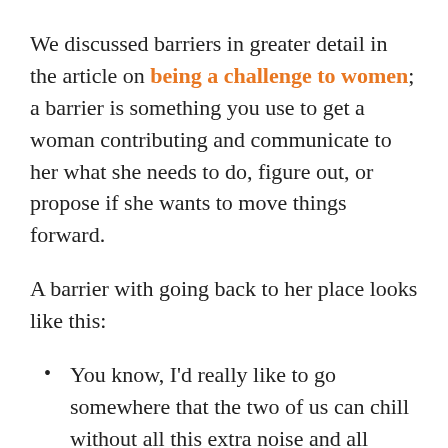We discussed barriers in greater detail in the article on being a challenge to women; a barrier is something you use to get a woman contributing and communicate to her what she needs to do, figure out, or propose if she wants to move things forward.
A barrier with going back to her place looks like this:
You know, I'd really like to go somewhere that the two of us can chill without all this extra noise and all these people, but my place is super far away.
Normally I'd invite you to my place for a nightcap so we can spend more time